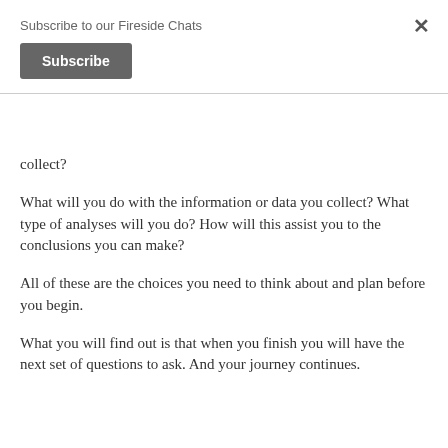Subscribe to our Fireside Chats
Subscribe
collect?
What will you do with the information or data you collect? What type of analyses will you do? How will this assist you to the conclusions you can make?
All of these are the choices you need to think about and plan before you begin.
What you will find out is that when you finish you will have the next set of questions to ask. And your journey continues.